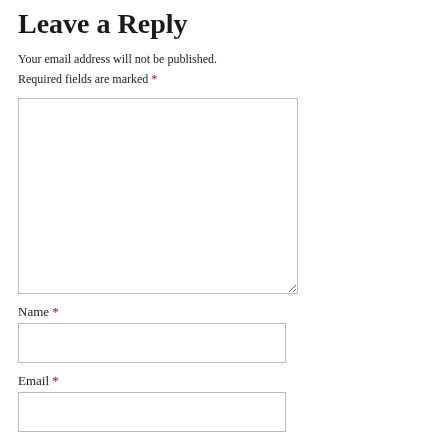Leave a Reply
Your email address will not be published.
Required fields are marked *
[Figure (other): Large comment textarea input field]
Name *
[Figure (other): Name text input field]
Email *
[Figure (other): Email text input field]